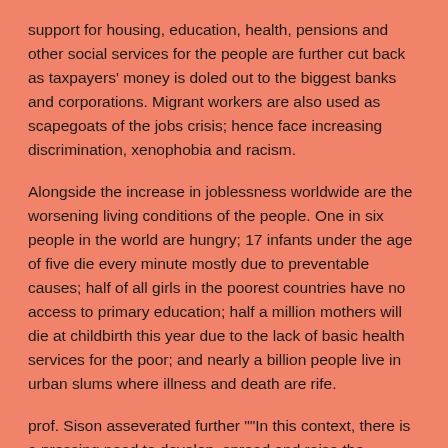support for housing, education, health, pensions and other social services for the people are further cut back as taxpayers' money is doled out to the biggest banks and corporations. Migrant workers are also used as scapegoats of the jobs crisis; hence face increasing discrimination, xenophobia and racism.
Alongside the increase in joblessness worldwide are the worsening living conditions of the people. One in six people in the world are hungry; 17 infants under the age of five die every minute mostly due to preventable causes; half of all girls in the poorest countries have no access to primary education; half a million mothers will die at childbirth this year due to the lack of basic health services for the poor; and nearly a billion people live in urban slums where illness and death are rife.
prof. Sison asseverated further ""In this context, there is a pressing need to develop, spread and raise the militancy of mass struggles for employment, land, decent incomes, better working and living conditions, and access to social services while raising people's